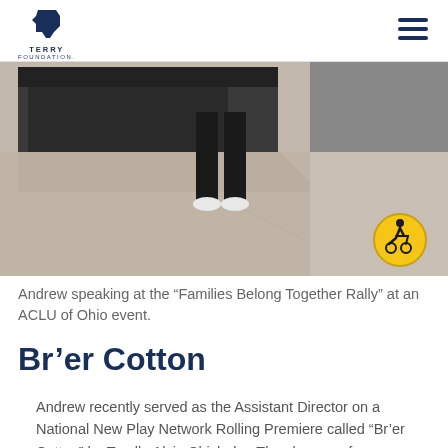TERRY FOUNDATION
[Figure (photo): Photo of person's legs and feet standing at an outdoor event, wearing dark pants and white shoes, with a dark granite monument or structure to the left. A yellow accessibility icon badge is overlaid in the bottom-right corner of the image.]
Andrew speaking at the “Families Belong Together Rally” at an ACLU of Ohio event.
Br’er Cotton
Andrew recently served as the Assistant Director on a National New Play Network Rolling Premiere called “Br’er Cotton” by Terelle Alvin Chisholm. The show ran from March 29, 2019 to April 21, 2019. “This is one of